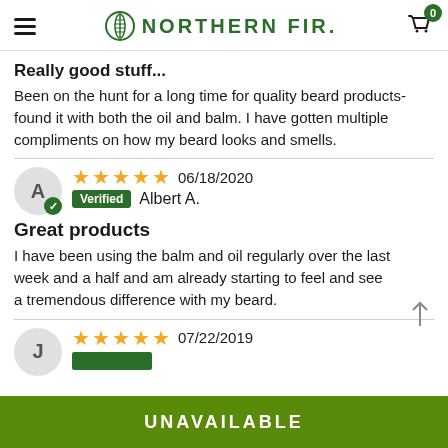[Figure (screenshot): Northern Fir website header with hamburger menu, logo, and cart icon with badge showing 0]
Really good stuff...
Been on the hunt for a long time for quality beard products- found it with both the oil and balm. I have gotten multiple compliments on how my beard looks and smells.
5 stars, 06/18/2020, Verified, Albert A.
Great products
I have been using the balm and oil regularly over the last week and a half and am already starting to feel and see a tremendous difference with my beard.
5 stars, 07/22/2019
UNAVAILABLE